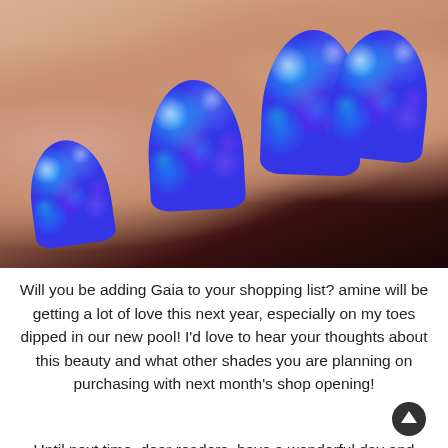[Figure (photo): Close-up photograph of four fingers with sparkly bright blue glitter nail polish (named Gaia). The nails have a holographic, multidimensional appearance with teal, pink, and purple flecks of glitter.]
Will you be adding Gaia to your shopping list? amine will be getting a lot of love this next year, especially on my toes dipped in our new pool! I'd love to hear your thoughts about this beauty and what other shades you are planning on purchasing with next month's shop opening!
Until next time, dear readers, have a wonderful day and enjoy the